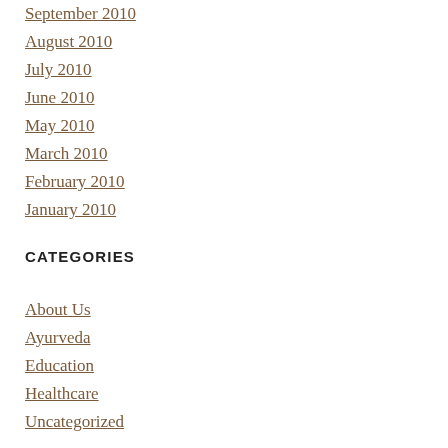September 2010
August 2010
July 2010
June 2010
May 2010
March 2010
February 2010
January 2010
CATEGORIES
About Us
Ayurveda
Education
Healthcare
Uncategorized